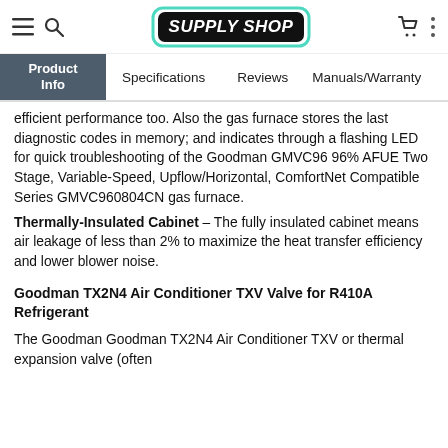Supply Shop – navigation header with hamburger, search, logo, cart, and more icons
Product Info | Specifications | Reviews | Manuals/Warranty
efficient performance too. Also the gas furnace stores the last diagnostic codes in memory; and indicates through a flashing LED for quick troubleshooting of the Goodman GMVC96 96% AFUE Two Stage, Variable-Speed, Upflow/Horizontal, ComfortNet Compatible Series GMVC960804CN gas furnace.
Thermally-Insulated Cabinet – The fully insulated cabinet means air leakage of less than 2% to maximize the heat transfer efficiency and lower blower noise.
Goodman TX2N4 Air Conditioner TXV Valve for R410A Refrigerant
The Goodman Goodman TX2N4 Air Conditioner TXV or thermal expansion valve (often